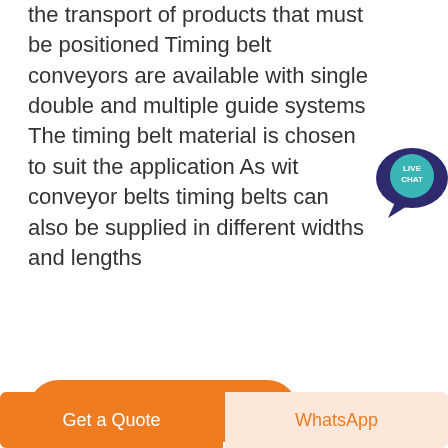the transport of products that must be positioned Timing belt conveyors are available with single double and multiple guide systems The timing belt material is chosen to suit the application As with conveyor belts timing belts can also be supplied in different widths and lengths
[Figure (other): Live Chat speech bubble icon with teal background and white text saying LIVE CHAT]
[Figure (other): Orange rounded button with white text saying Get price]
[Figure (photo): Partial photo showing blue sky, with blue-grey gradient background visible at bottom of page]
[Figure (other): Black circular scroll-to-top button with upward chevron arrow]
[Figure (other): Bottom action bar with orange 'Get a Quote' button on left and light orange 'WhatsApp' button on right]